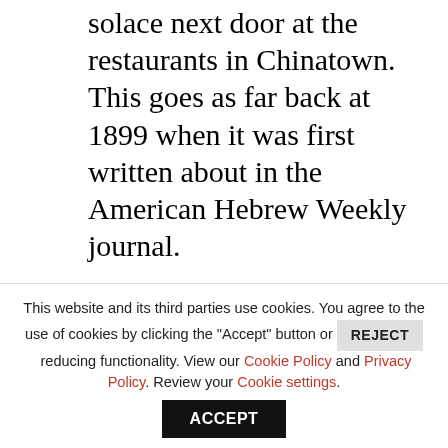solace next door at the restaurants in Chinatown. This goes as far back at 1899 when it was first written about in the American Hebrew Weekly journal.
And it still works well for us today!
Happy holidays to all and...
A la prochaine...
[Figure (photo): Adrian Leeds - in relief at the Getty Villa with text caption. Adrian Leeds portrait photo with caption 'Adrian Leeds'.]
This website and its third parties use cookies. You agree to the use of cookies by clicking the "Accept" button or REJECT reducing functionality. View our Cookie Policy and Privacy Policy. Review your Cookie settings.